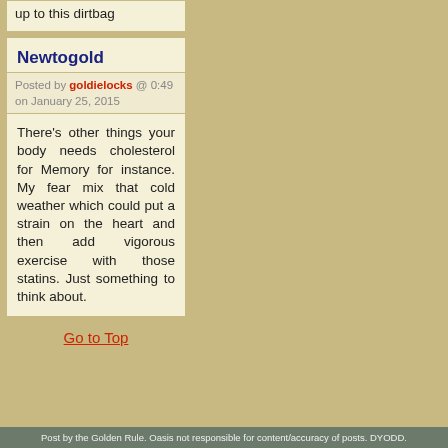up to this dirtbag
Newtogold
Posted by goldielocks @ 0:49 on January 25, 2015
There's other things your body needs cholesterol for Memory for instance. My fear mix that cold weather which could put a strain on the heart and then add vigorous exercise with those statins. Just something to think about.
Go to Top
Post by the Golden Rule. Oasis not responsible for content/accuracy of posts. DYODD.